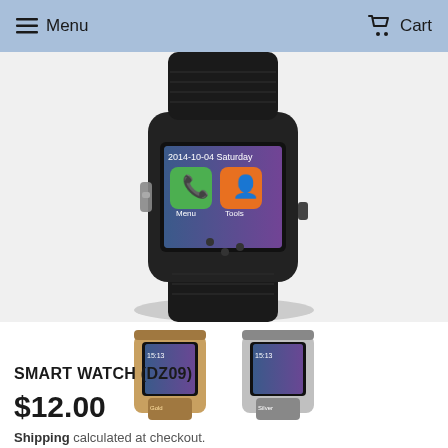Menu   Cart
[Figure (photo): Close-up photo of a black DZ09 smartwatch showing the watch display with date 2014-10-04 Saturday, a phone icon, and a contacts icon, with Menu and Tools labels visible on screen. The watch has a black rubber strap with textured pattern.]
[Figure (photo): Two thumbnail images of the DZ09 smartwatch: one in gold/brown color variant and one in silver/black color variant, both showing the watch face with digital display.]
SMART WATCH (DZ09)
$12.00
Shipping calculated at checkout.